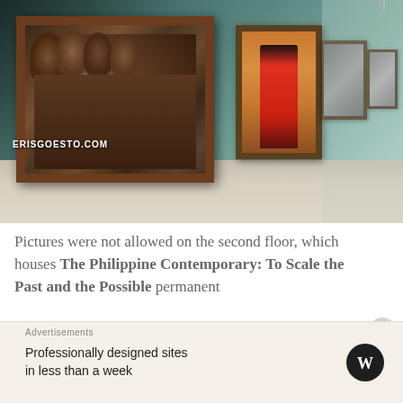[Figure (photo): Interior of an art gallery with sage green walls. A large framed painting of multiple figures hangs on the left wall. Further down the corridor, a painting of a figure in red, and several more smaller framed works recede into the background. The floor is light stone/tile. Watermark reads ERISGOESTO.COM at bottom left.]
Pictures were not allowed on the second floor, which houses The Philippine Contemporary: To Scale the Past and the Possible permanent
Advertisements
Professionally designed sites in less than a week